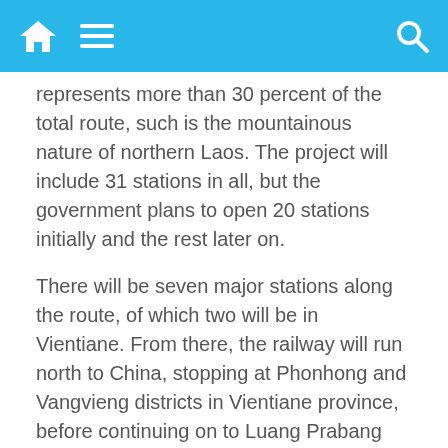[navigation bar with home, menu, and search icons]
represents more than 30 percent of the total route, such is the mountainous nature of northern Laos. The project will include 31 stations in all, but the government plans to open 20 stations initially and the rest later on.
There will be seven major stations along the route, of which two will be in Vientiane. From there, the railway will run north to China, stopping at Phonhong and Vangvieng districts in Vientiane province, before continuing on to Luang Prabang Oudomxay, Luang Namtha and the Chinese border.
published with the permission of Vientiane Times
Related posts:
[Figure (photo): Two thumbnail images for related posts]